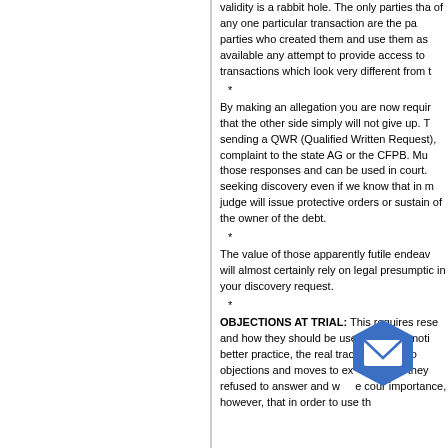validity is a rabbit hole. The only parties that of any one particular transaction are the pa parties who created them and use them as available any attempt to provide access to transactions which look very different from t
*
By making an allegation you are now requir that the other side simply will not give up. T sending a QWR (Qualified Written Request) complaint to the state AG or the CFPB. Mu those responses and can be used in court. seeking discovery even if we know that in m judge will issue protective orders or sustain of the owner of the debt.
*
The value of those apparently futile endeav will almost certainly rely on legal presumptio in your discovery request.
*
OBJECTIONS AT TRIAL: This requires rese and how they should be used. While a moti better practice, the real tract to co objections and moves to ex nce t they refused to answer and court importance, however, that in order to use th
[Figure (other): Blue hexagonal email/envelope icon overlay in lower right area of content]